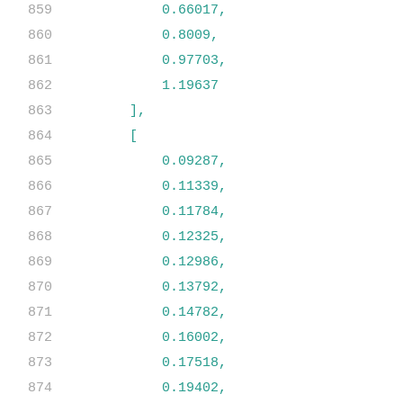859    0.66017,
860    0.8009,
861    0.97703,
862    1.19637
863    ],
864    [
865    0.09287,
866    0.11339,
867    0.11784,
868    0.12325,
869    0.12986,
870    0.13792,
871    0.14782,
872    0.16002,
873    0.17518,
874    0.19402,
875    0.21755,
876    0.24697,
877    0.28378,
878    0.32974,
879    0.38739,